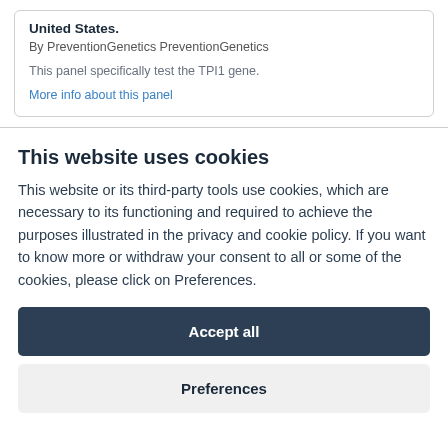United States.
By PreventionGenetics PreventionGenetics
This panel specifically test the TPI1 gene.
More info about this panel
This website uses cookies
This website or its third-party tools use cookies, which are necessary to its functioning and required to achieve the purposes illustrated in the privacy and cookie policy. If you want to know more or withdraw your consent to all or some of the cookies, please click on Preferences.
Accept all
Preferences